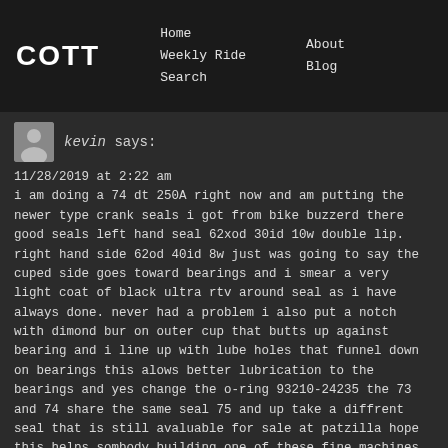COTT | Home | Weekly Ride | Search | About | Blog
kevin says:
11/28/2019 at 2:22 am
i am doing a 74 dt 250A right now and am putting the newer type crank seals i got from bike buzzerd there good seals left hand seal 62xod 30id 10w double lip. right hand side 62od 40id 8w just was going to say the cuped side goes toward bearings and i smear a very light coat of black ultra rtv around seal as i have always done. never had a problem i also put a notch with dimond bur on outer cup that butts up against bearing and i line up with lube holes that funnel down on bearings this alows better lubrication to the bearings and yes change the o-ring 93210-24235 the 73 and 74 share the same seal 75 and up take a diffrent seal that is still avaluable for sale at patzilla hope this helps sombody building one of these fine machines